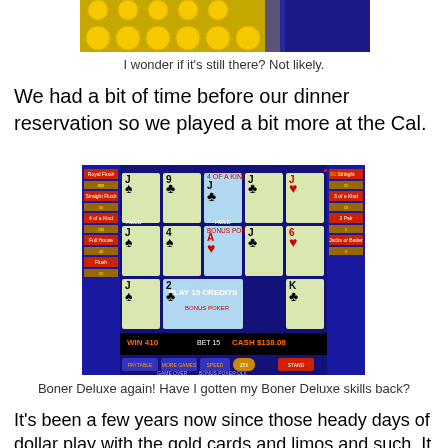[Figure (photo): Top portion of a photo showing yellow casino chips or tokens on a surface with blue accent, partially cropped at the top of the page]
I wonder if it's still there? Not likely.
We had a bit of time before our dinner reservation so we played a bit more at the Cal.
[Figure (photo): Video poker machine screen showing Bonus Poker Deluxe game with multiple hands of cards displayed, showing Jacks, nines, and other cards. Bottom shows WIN 410, BET 15, CASH $138.08. A 'PLAY 15 CREDITS' button is visible.]
Boner Deluxe again! Have I gotten my Boner Deluxe skills back?
It's been a few years now since those heady days of dollar play with the gold cards and limos and such. It was such fun while it lasted. I'm glad we did it, but I'm also glad we aren't